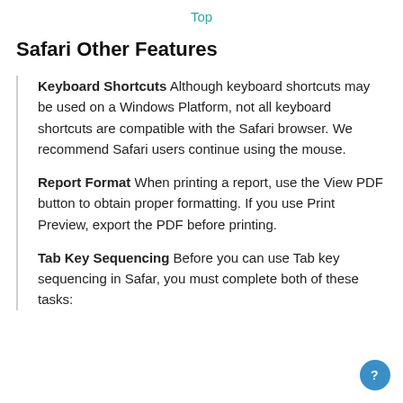Top
Safari Other Features
Keyboard Shortcuts Although keyboard shortcuts may be used on a Windows Platform, not all keyboard shortcuts are compatible with the Safari browser. We recommend Safari users continue using the mouse.
Report Format When printing a report, use the View PDF button to obtain proper formatting. If you use Print Preview, export the PDF before printing.
Tab Key Sequencing Before you can use Tab key sequencing in Safar, you must complete both of these tasks: